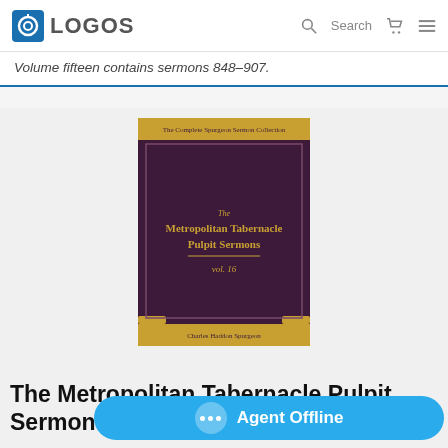LOGOS | Search
Volume fifteen contains sermons 848–907.
[Figure (illustration): Book cover of The Metropolitan Tabernacle Pulpit Sermons, vol. 16, dark maroon/purple cover with gold text and ornamental corners, by Charles Haddon Spurgeon]
The Metropolitan Tabernacle Pulpit Sermons, vol. 16
Author: Charles Spurgeon
Publisher: Passmore
Publication Date: 1870